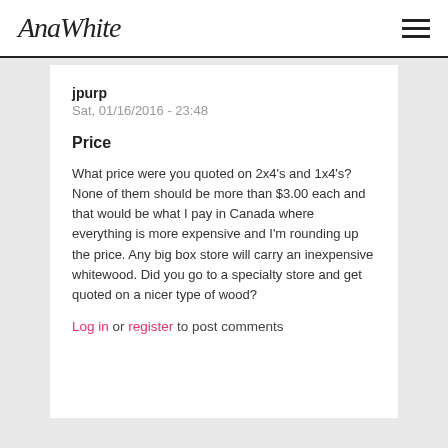AnaWhite
jpurp
Sat, 01/16/2016 - 23:48
Price
What price were you quoted on 2x4's and 1x4's? None of them should be more than $3.00 each and that would be what I pay in Canada where everything is more expensive and I'm rounding up the price.  Any big box store will carry an inexpensive whitewood.  Did you go to a specialty store and get quoted on a nicer type of wood?
Log in or register to post comments